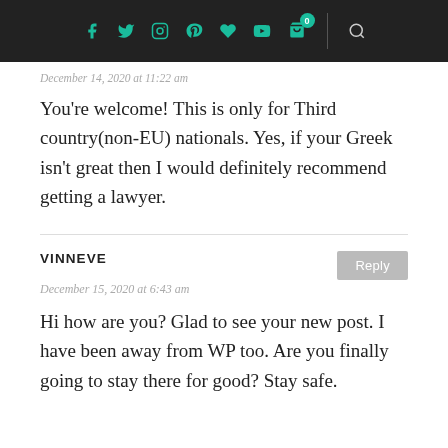Navigation bar with social icons (Facebook, Twitter, Instagram, Pinterest, Heart, YouTube, Cart with badge 0) and search icon
December 14, 2020 at 11:22 am
You're welcome! This is only for Third country(non-EU) nationals. Yes, if your Greek isn't great then I would definitely recommend getting a lawyer.
VINNEVE
December 15, 2020 at 6:43 am
Hi how are you? Glad to see your new post. I have been away from WP too. Are you finally going to stay there for good? Stay safe.